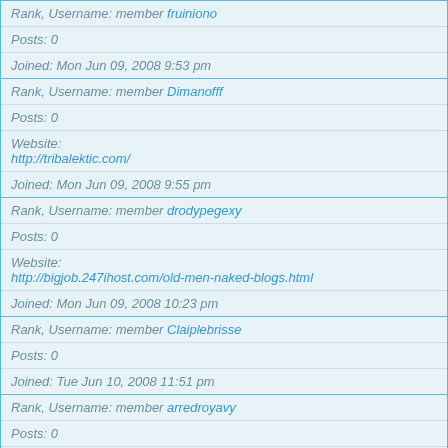Rank, Username: member fruiniono
Posts: 0
Joined: Mon Jun 09, 2008 9:53 pm
Rank, Username: member Dimanofff
Posts: 0
Website: http://tribalektic.com/
Joined: Mon Jun 09, 2008 9:55 pm
Rank, Username: member drodypegexy
Posts: 0
Website: http://bigjob.247ihost.com/old-men-naked-blogs.html
Joined: Mon Jun 09, 2008 10:23 pm
Rank, Username: member Claiplebrisse
Posts: 0
Joined: Tue Jun 10, 2008 11:51 pm
Rank, Username: member arredroyavy
Posts: 0
Joined: Wed Jun 11, 2008 2:02 am
Rank, Username: member boobiaCrigafe